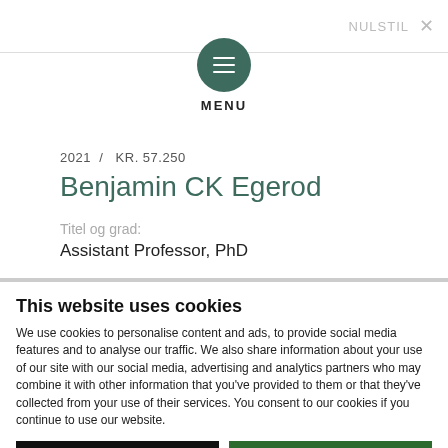NULSTIL ×
[Figure (illustration): Green circular menu button with three horizontal white lines (hamburger icon), labeled MENU below]
2021 / KR. 57.250
Benjamin CK Egerod
Titel og grad:
Assistant Professor, PhD
This website uses cookies
We use cookies to personalise content and ads, to provide social media features and to analyse our traffic. We also share information about your use of our site with our social media, advertising and analytics partners who may combine it with other information that you've provided to them or that they've collected from your use of their services. You consent to our cookies if you continue to use our website.
Use necessary cookies only
Allow all cookies
Settings